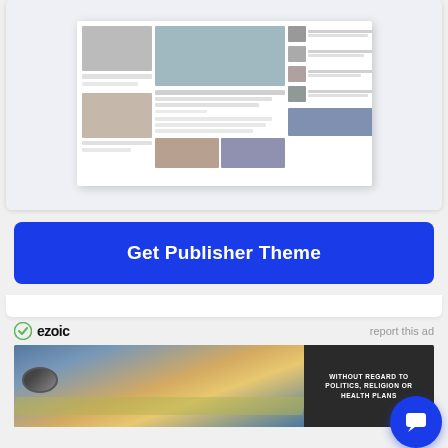[Figure (screenshot): Screenshot mockup of a news/publisher website theme showing article cards with images and text in a grid layout]
Get Publisher Theme
[Figure (logo): Ezoic logo with circular icon and text 'ezoic']
report this ad
[Figure (photo): Advertisement banner showing a cargo aircraft being loaded, with a dark panel on the right reading WITHOUT REGARD TO POLITICS, RELIGION OR HEALTH PLANS]
[Figure (other): Blue circular chat/messaging button in bottom right corner]